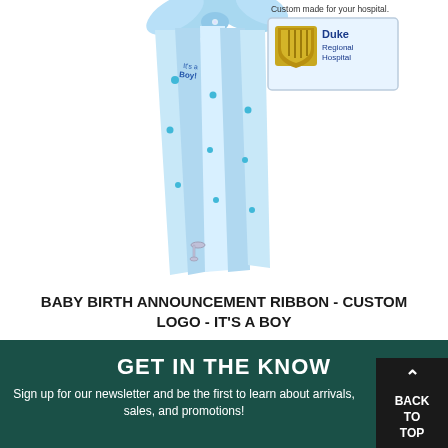[Figure (photo): Baby birth announcement ribbon with blue bow and streamers decorated with 'It's a Boy' text and blue dots, alongside a custom Duke Regional Hospital logo badge on a light blue card]
BABY BIRTH ANNOUNCEMENT RIBBON - CUSTOM LOGO - IT'S A BOY
IN STOCK
GET IN THE KNOW
Sign up for our newsletter and be the first to learn about arrivals, sales, and promotions!